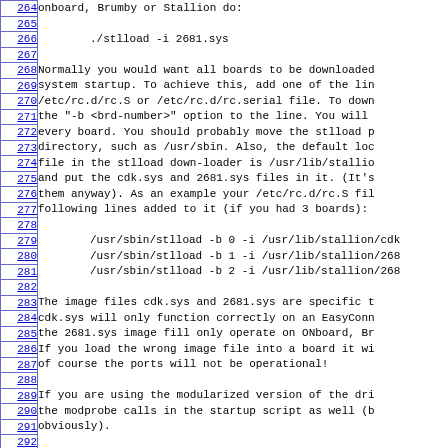onboard, Brumby or Stallion do:
./stlload -i 2681.sys
Normally you would want all boards to be downloaded at system startup. To achieve this, add one of the lines to /etc/rc.d/rc.S or /etc/rc.d/rc.serial file. To down, add the "-b <brd-number>" option to the line. You will need every board. You should probably move the stlload program to directory, such as /usr/sbin. Also, the default location for the file in the stlload down-loader is /usr/lib/stallion/ and put the cdk.sys and 2681.sys files in it. (It's best to them anyway). As an example your /etc/rc.d/rc.S file should following lines added to it (if you had 3 boards):
/usr/sbin/stlload -b 0 -i /usr/lib/stallion/cdk
/usr/sbin/stlload -b 1 -i /usr/lib/stallion/268
/usr/sbin/stlload -b 2 -i /usr/lib/stallion/268
The image files cdk.sys and 2681.sys are specific to the board type. cdk.sys will only function correctly on an EasyConnection 8/64 board, the 2681.sys image fill only operate on ONboard, Brumby or Stallion boards. If you load the wrong image file into a board it will not work, and of course the ports will not be operational!
If you are using the modularized version of the driver then include the modprobe calls in the startup script as well (before the stlload calls obviously).
3.2 USING THE SERIAL PORTS